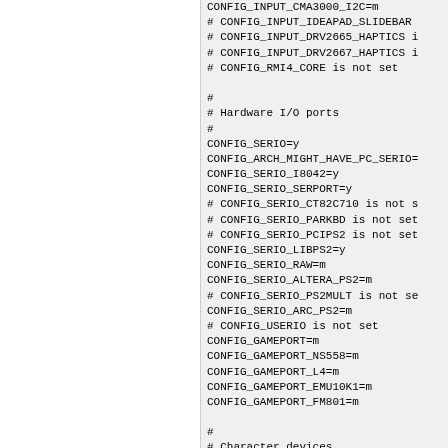CONFIG_INPUT_CMA3000_I2C=m
# CONFIG_INPUT_IDEAPAD_SLIDEBAR
# CONFIG_INPUT_DRV2665_HAPTICS i
# CONFIG_INPUT_DRV2667_HAPTICS i
# CONFIG_RMI4_CORE is not set
#
# Hardware I/O ports
#
CONFIG_SERIO=y
CONFIG_ARCH_MIGHT_HAVE_PC_SERIO=
CONFIG_SERIO_I8042=y
CONFIG_SERIO_SERPORT=y
# CONFIG_SERIO_CT82C710 is not s
# CONFIG_SERIO_PARKBD is not set
# CONFIG_SERIO_PCIPS2 is not set
CONFIG_SERIO_LIBPS2=y
CONFIG_SERIO_RAW=m
CONFIG_SERIO_ALTERA_PS2=m
# CONFIG_SERIO_PS2MULT is not se
CONFIG_SERIO_ARC_PS2=m
# CONFIG_USERIO is not set
CONFIG_GAMEPORT=m
CONFIG_GAMEPORT_NS558=m
CONFIG_GAMEPORT_L4=m
CONFIG_GAMEPORT_EMU10K1=m
CONFIG_GAMEPORT_FM801=m
#
# Character devices
#
CONFIG_TTY=y
CONFIG_VT=